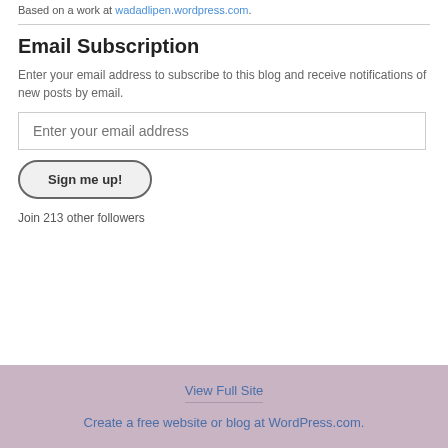Based on a work at wadadlipen.wordpress.com.
Email Subscription
Enter your email address to subscribe to this blog and receive notifications of new posts by email.
Enter your email address
Sign me up!
Join 213 other followers
View Full Site
Create a free website or blog at WordPress.com.